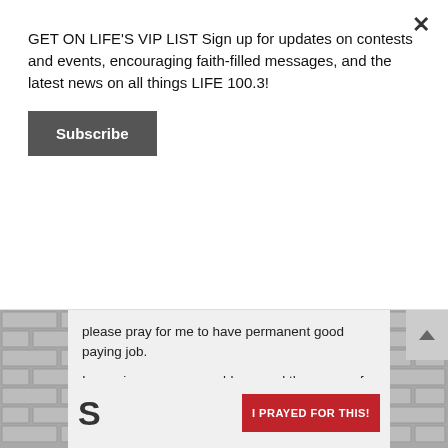GET ON LIFE'S VIP LIST Sign up for updates on contests and events, encouraging faith-filled messages, and the latest news on all things LIFE 100.3!
Subscribe
please pray for me to have permanent good paying job.
I experience enemy problems and the power of negativity, every problem I face physically and mentally. Please pray.
Posted on June 14th, 2022
I PRAYED FOR THIS!